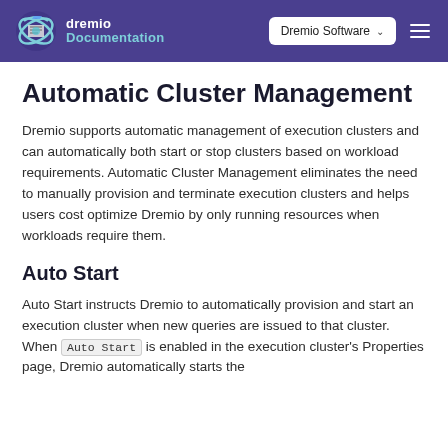dremio Documentation | Dremio Software
Automatic Cluster Management
Dremio supports automatic management of execution clusters and can automatically both start or stop clusters based on workload requirements. Automatic Cluster Management eliminates the need to manually provision and terminate execution clusters and helps users cost optimize Dremio by only running resources when workloads require them.
Auto Start
Auto Start instructs Dremio to automatically provision and start an execution cluster when new queries are issued to that cluster. When Auto Start is enabled in the execution cluster's Properties page, Dremio automatically starts the